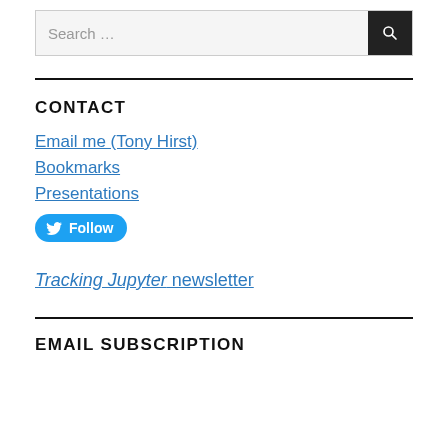[Figure (screenshot): Search bar with magnifying glass icon button]
CONTACT
Email me (Tony Hirst)
Bookmarks
Presentations
Follow (Twitter button)
Tracking Jupyter newsletter
EMAIL SUBSCRIPTION